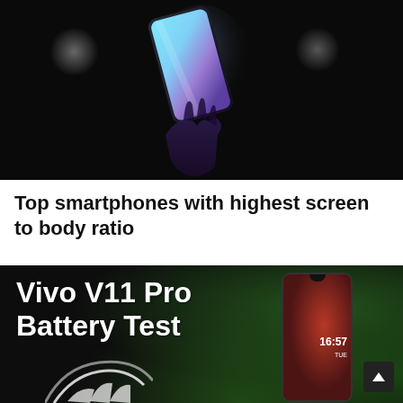[Figure (photo): A smartphone with edge-to-edge display showing blue/purple gradient screen, held in a hand against a dark background with soft light blobs on either side]
Top smartphones with highest screen to body ratio
[Figure (photo): Vivo V11 Pro Battery Test promotional image. Bold white text on dark background with tropical green leaves. A Vivo smartphone is shown on the right displaying 16:57 on screen. A scroll-to-top arrow button is visible in the lower right corner.]